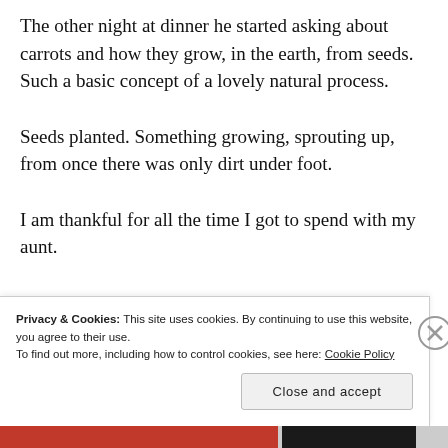The other night at dinner he started asking about carrots and how they grow, in the earth, from seeds. Such a basic concept of a lovely natural process.
Seeds planted. Something growing, sprouting up, from once there was only dirt under foot.
I am thankful for all the time I got to spend with my aunt.
Privacy & Cookies: This site uses cookies. By continuing to use this website, you agree to their use.
To find out more, including how to control cookies, see here: Cookie Policy